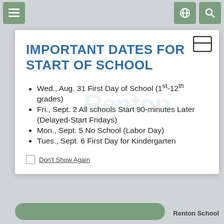IMPORTANT DATES FOR START OF SCHOOL
Wed., Aug. 31 First Day of School (1st-12th grades)
Fri., Sept. 2 All schools Start 90-minutes Later (Delayed-Start Fridays)
Mon., Sept. 5 No School (Labor Day)
Tues., Sept. 6 First Day for Kindergarten
Don't Show Again
Renton School